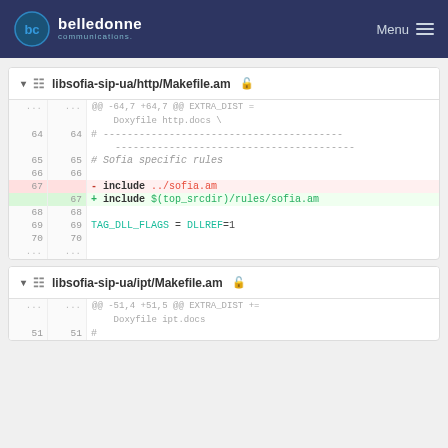belledonne communications — Menu
libsofia-sip-ua/http/Makefile.am
[Figure (screenshot): Diff view of libsofia-sip-ua/http/Makefile.am showing line 67 changed from 'include ../sofia.am' to 'include $(top_srcdir)/rules/sofia.am']
libsofia-sip-ua/ipt/Makefile.am
[Figure (screenshot): Diff view of libsofia-sip-ua/ipt/Makefile.am partial view showing @@ -51,4 +51,5 @@ EXTRA_DIST += Doxyfile ipt.docs and line 51]